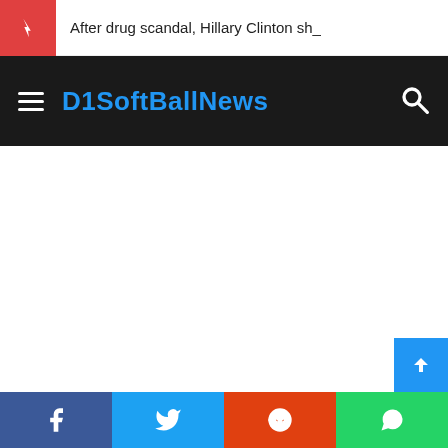After drug scandal, Hillary Clinton sh_
D1SoftBallNews
[Figure (screenshot): White blank main content area of a news website]
[Figure (infographic): Social share bar with Facebook, Twitter, Reddit, and WhatsApp buttons at the bottom of the page]